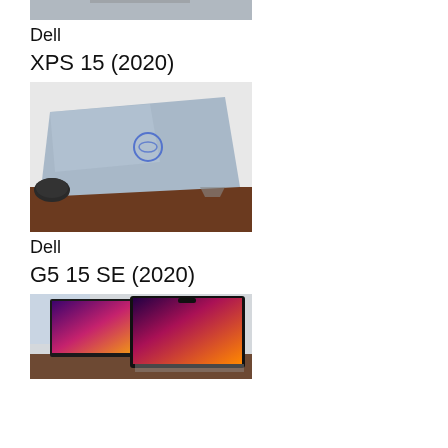[Figure (photo): Top portion of a laptop photo, cropped at the top of the page]
Dell
XPS 15 (2020)
[Figure (photo): Dell G5 15 SE laptop closed, silver/blue lid with Dell logo, sitting on a wooden desk with a game controller beside it]
Dell
G5 15 SE (2020)
[Figure (photo): Two MacBook Pro laptops open on a desk showing colorful wallpaper, partially cropped at bottom of page]